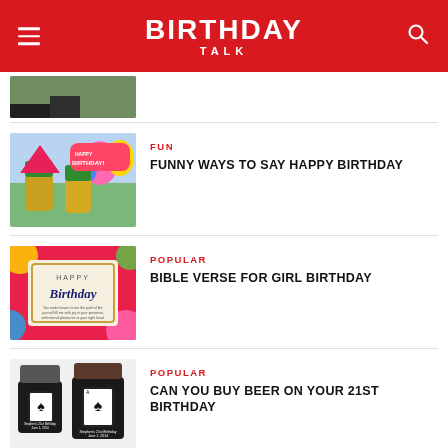BIRTHDAY TALK
[Figure (photo): Partial thumbnail image of outdoor scene at top]
[Figure (photo): Pineapple characters with party hats and balloons with Happy Birthday text]
FUN
FUNNY WAYS TO SAY HAPPY BIRTHDAY
[Figure (photo): Colorful Happy Birthday card with bible verse text]
POPULAR
BIBLE VERSE FOR GIRL BIRTHDAY
[Figure (photo): Black can koozies with spade card suit design for 21st birthday]
POPULAR
CAN YOU BUY BEER ON YOUR 21ST BIRTHDAY